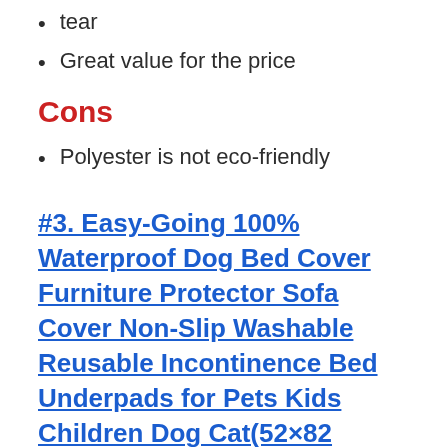tear
Great value for the price
Cons
Polyester is not eco-friendly
#3. Easy-Going 100% Waterproof Dog Bed Cover Furniture Protector Sofa Cover Non-Slip Washable Reusable Incontinence Bed Underpads for Pets Kids Children Dog Cat(52×82